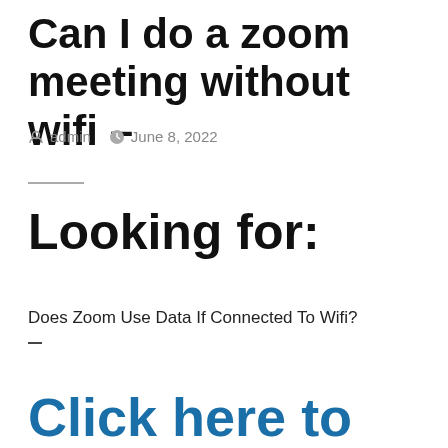Can I do a zoom meeting without wifi –
admin   June 8, 2022
Looking for:
Does Zoom Use Data If Connected To Wifi?
–
Click here to